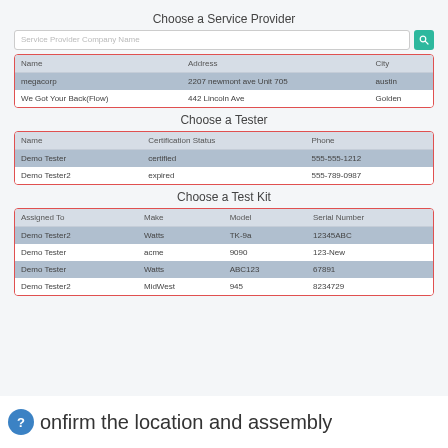Choose a Service Provider
| Name | Address | City |
| --- | --- | --- |
| megacorp | 2207 newmont ave Unit 705 | austin |
| We Got Your Back(Flow) | 442 Lincoln Ave | Golden |
Choose a Tester
| Name | Certification Status | Phone |
| --- | --- | --- |
| Demo Tester | certified | 555-555-1212 |
| Demo Tester2 | expired | 555-789-0987 |
Choose a Test Kit
| Assigned To | Make | Model | Serial Number |
| --- | --- | --- | --- |
| Demo Tester2 | Watts | TK-9a | 12345ABC |
| Demo Tester | acme | 9090 | 123-New |
| Demo Tester | Watts | ABC123 | 67891 |
| Demo Tester2 | MidWest | 945 | 8234729 |
Confirm the location and assembly